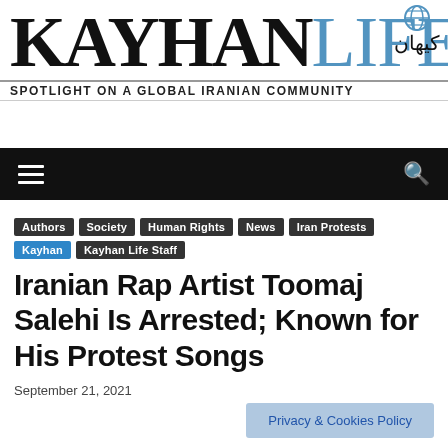KAYHAN LIFE — SPOTLIGHT ON A GLOBAL IRANIAN COMMUNITY
Authors | Society | Human Rights | News | Iran Protests | Kayhan | Kayhan Life Staff
Iranian Rap Artist Toomaj Salehi Is Arrested; Known for His Protest Songs
September 21, 2021
Privacy & Cookies Policy